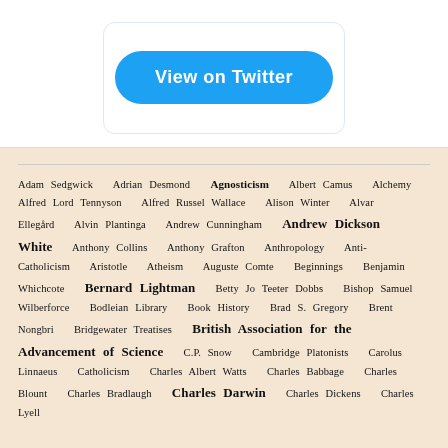[Figure (screenshot): Twitter 'View on Twitter' button inside a rounded card]
Adam Sedgwick  Adrian Desmond  Agnosticism  Albert Camus  Alchemy  Alfred Lord Tennyson  Alfred Russel Wallace  Alison Winter  Alvar Ellegård  Alvin Plantinga  Andrew Cunningham  Andrew Dickson White  Anthony Collins  Anthony Grafton  Anthropology  Anti-Catholicism  Aristotle  Atheism  Auguste Comte  Beginnings  Benjamin Whichcote  Bernard Lightman  Betty Jo Teeter Dobbs  Bishop Samuel Wilberforce  Bodleian Library  Book History  Brad S. Gregory  Brent Nongbri  Bridgewater Treatises  British Association for the Advancement of Science  C.P. Snow  Cambridge Platonists  Carolus Linnaeus  Catholicism  Charles Albert Watts  Charles Babbage  Charles Blount  Charles Bradlaugh  Charles Darwin  Charles Dickens  Charles Lyell